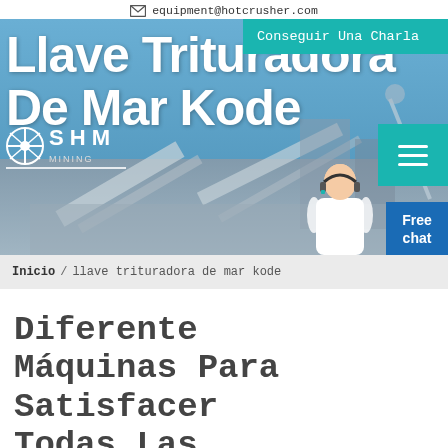equipment@hotcrusher.com
[Figure (screenshot): Hero banner showing industrial crushing/mining equipment facility with conveyor belts and machinery against a blue sky background. Large white bold text reads 'Llave Trituradora De Mar Kode'. Teal button 'Conseguir Una Charla' top right. SHM Mining logo and hamburger menu visible. Customer service representative image bottom right with 'Free chat' blue button.]
Inicio / llave trituradora de mar kode
Diferente Máquinas Para Satisfacer Todas Las Necesidades
[Figure (photo): Bottom edge of industrial machinery/equipment image, showing metallic structural elements]
Get a Quote
WhatsApp